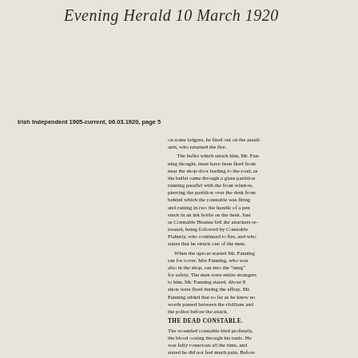Evening Herald 10 March 1920
Irish Independent 1905-current, 06.03.1920, page 5
on some ledgers, he fired out on the assailants, who returned the fire. The bullet which struck him, Mr. Fanning thought, must have been fired from near the shop-door leading to the road, as the bullet came through a glass partition running parallel with the front window, piercing the partition over the desk from behind which the constable was firing and cutting in two the handle of a pen stuck in an ink bottle on the desk. Just as Constable Heanue fell the attackers retreated, being followed by Constable Flaherty, who continued to fire, and who states that he struck one of the men. When the uproar started Mr. Fanning ran for cover. Mrs Fanning, who was also in the shop, ran into the "snug" for safety. The men were entire strangers to him, Mr. Fanning stated. About 8 shots were fired during the affray. Mr. Fanning added that so far as he knew no words passed between the civilians and the police before the attack.
THE DEAD CONSTABLE.
The wounded constable bled profusely, the blood oozing through his tunic. He was fully conscious all the time, and stated he did not feel much pain. Before being removed to Tipperary military hospital by motor his Confession was heard by Father Hayes, C.C. Dr. Callanan, who attended the wounded man before his removal, states the bullet penetrated the body, almost coming out at the back. The dead constable was a native of Letterfrack, Co. Galway, and before joining the police in 1917 he was a clerk in Kingstown. A Press Association message states that one of the attackers was seriously wounded,